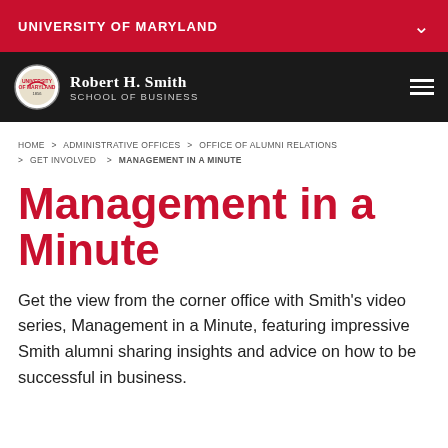UNIVERSITY OF MARYLAND
Robert H. Smith School of Business
HOME > ADMINISTRATIVE OFFICES > OFFICE OF ALUMNI RELATIONS > GET INVOLVED > MANAGEMENT IN A MINUTE
Management in a Minute
Get the view from the corner office with Smith's video series, Management in a Minute, featuring impressive Smith alumni sharing insights and advice on how to be successful in business.